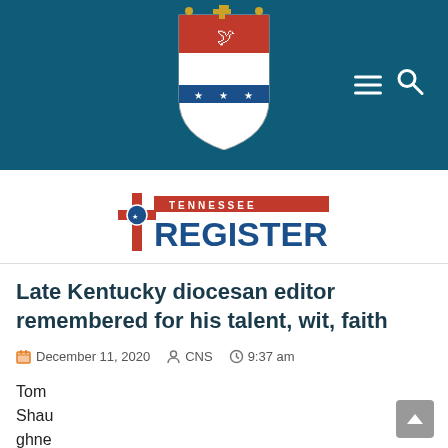[Figure (logo): Diocese crest/coat of arms logo on dark teal navigation bar with hamburger menu and search icon]
[Figure (logo): Tennessee Register newspaper logo with red cross and blue text]
Late Kentucky diocesan editor remembered for his talent, wit, faith
December 11, 2020   CNS   9:37 am
Tom
Shau
ghne